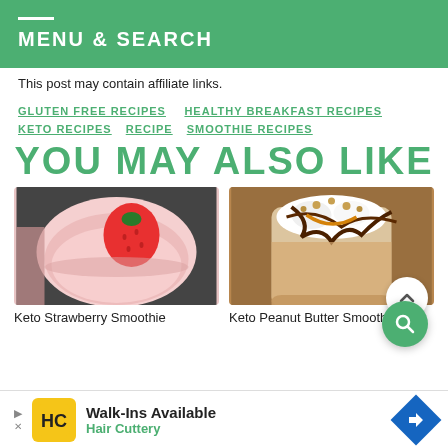MENU & SEARCH
This post may contain affiliate links.
GLUTEN FREE RECIPES
HEALTHY BREAKFAST RECIPES
KETO RECIPES
RECIPE
SMOOTHIE RECIPES
YOU MAY ALSO LIKE
[Figure (photo): Keto strawberry smoothie in a glass with a fresh strawberry on top, viewed from above]
Keto Strawberry Smoothie
[Figure (photo): Keto peanut butter smoothie topped with chocolate drizzle, whipped cream, and chopped peanuts]
Keto Peanut Butter Smoothie
Walk-Ins Available
Hair Cuttery